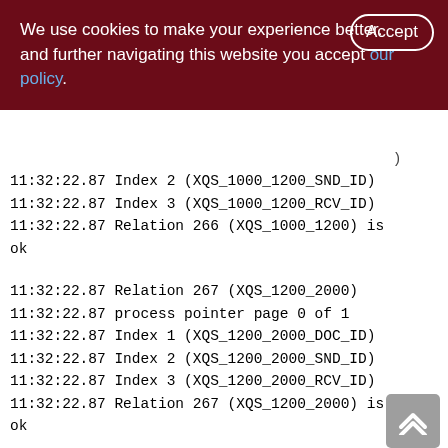We use cookies to make your experience better. By accepting and further navigating this website you accept our policy.
11:32:22.87 Index 2 (XQS_1000_1200_SND_ID)
11:32:22.87 Index 3 (XQS_1000_1200_RCV_ID)
11:32:22.87 Relation 266 (XQS_1000_1200) is ok

11:32:22.87 Relation 267 (XQS_1200_2000)
11:32:22.87 process pointer page 0 of 1
11:32:22.87 Index 1 (XQS_1200_2000_DOC_ID)
11:32:22.87 Index 2 (XQS_1200_2000_SND_ID)
11:32:22.87 Index 3 (XQS_1200_2000_RCV_ID)
11:32:22.87 Relation 267 (XQS_1200_2000) is ok